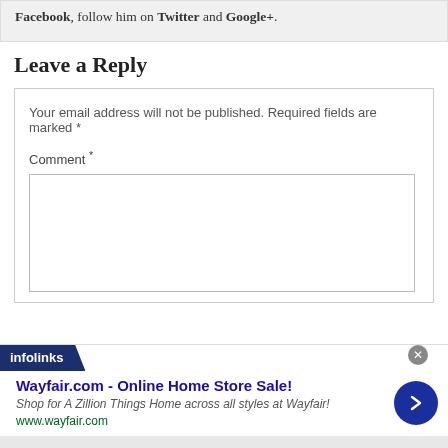Facebook, follow him on Twitter and Google+.
Leave a Reply
Your email address will not be published. Required fields are marked *
Comment *
[Figure (screenshot): Infolinks advertisement bar with Wayfair.com ad: 'Wayfair.com - Online Home Store Sale! Shop for A Zillion Things Home across all styles at Wayfair! www.wayfair.com']